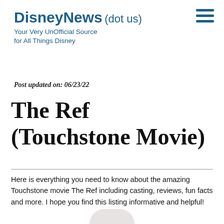DisneyNews (dot us) — Your Very UnOfficial Source for All Things Disney
Post updated on: 06/23/22
The Ref (Touchstone Movie)
Here is everything you need to know about the amazing Touchstone movie The Ref including casting, reviews, fun facts and more. I hope you find this listing informative and helpful!
[Figure (photo): Partial image of a person visible at the bottom of the page]